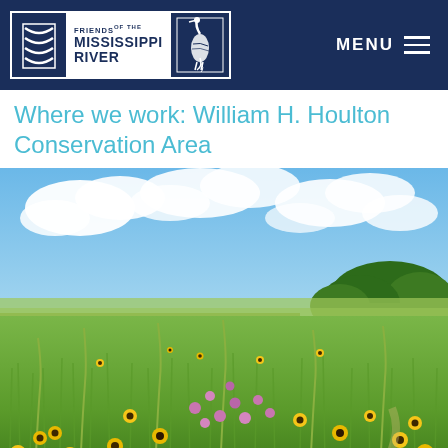Friends of the Mississippi River — Navigation header with MENU
Where we work: William H. Houlton Conservation Area
[Figure (photo): Wide prairie field filled with yellow black-eyed Susan flowers and scattered pink wildflowers, tall green grasses, with a treeline on the horizon and a partly cloudy blue sky above.]